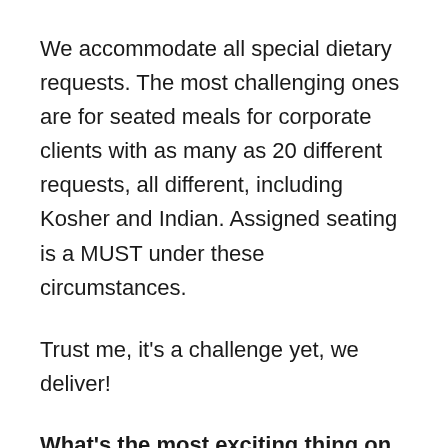We accommodate all special dietary requests. The most challenging ones are for seated meals for corporate clients with as many as 20 different requests, all different, including Kosher and Indian. Assigned seating is a MUST under these circumstances.
Trust me, it's a challenge yet, we deliver!
What's the most exciting thing on the horizon for you personally or professionally?
My new Youtube channel...which will position me and my brand as the ultimate entertaining resource in South Florida, providing all sources